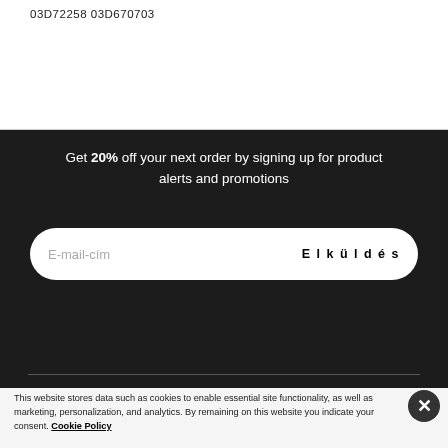03D72258 03D670703
Get 20% off your next order by signing up for product alerts and promotions
E-mail-cím   Elküldés
This website stores data such as cookies to enable essential site functionality, as well as marketing, personalization, and analytics. By remaining on this website you indicate your consent. Cookie Policy